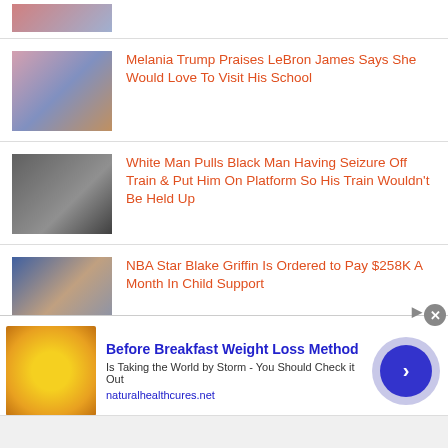[Figure (photo): Partial thumbnail of people at top of page]
[Figure (photo): Thumbnail of Melania Trump, Donald Trump, and LeBron James]
Melania Trump Praises LeBron James Says She Would Love To Visit His School
[Figure (photo): Thumbnail of a man pulling another man on a train platform]
White Man Pulls Black Man Having Seizure Off Train & Put Him On Platform So His Train Wouldn't Be Held Up
[Figure (photo): Thumbnail of Blake Griffin and a woman]
NBA Star Blake Griffin Is Ordered to Pay $258K A Month In Child Support
[Figure (photo): Advertisement image showing lemons/food]
Before Breakfast Weight Loss Method
Is Taking the World by Storm - You Should Check it Out
naturalhealthcures.net